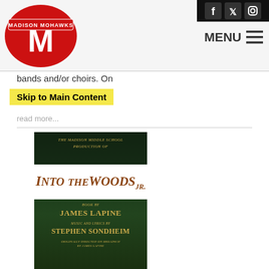[Figure (logo): Madison Mohawks school logo — red M with banner]
[Figure (other): Social media icons: Facebook, Twitter, Instagram on dark background]
MENU
bands and/or choirs. On
Skip to Main Content
read more...
[Figure (illustration): Theatrical poster for Into the Woods Jr., a Madison Middle School production. Book by James Lapine, Music and Lyrics by Stephen Sondheim, Originally Directed on Broadway by James Lapine.]